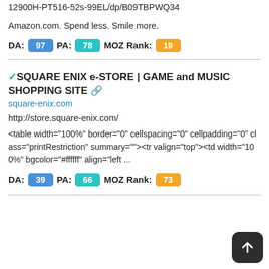https://www.amazon.com/Acer-Predator-Creator-is-12900H-PT516-52s-99EL/dp/B09TBPWQ34
Amazon.com. Spend less. Smile more.
DA: 97 PA: 78 MOZ Rank: 19
✓SQUARE ENIX e-STORE | GAME and MUSIC SHOPPING SITE 🔗
square-enix.com
http://store.square-enix.com/
<table width="100%" border="0" cellspacing="0" cellpadding="0" class="printRestriction" summary=""><tr valign="top"><td width="100%" bgcolor="#ffffff" align="left ...
DA: 39 PA: 66 MOZ Rank: 73